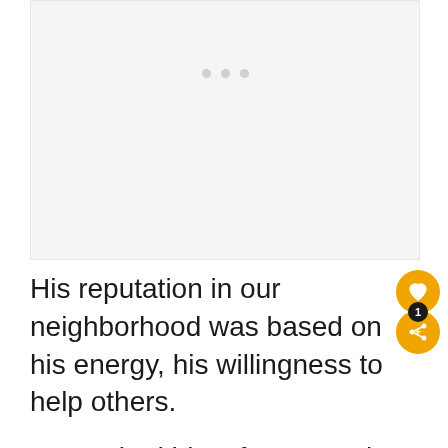[Figure (other): Light gray image placeholder with three dots carousel indicator at the top portion of the page]
His reputation in our neighborhood was based on his energy, his willingness to help others.
He worked his a fo sto ry wh en l